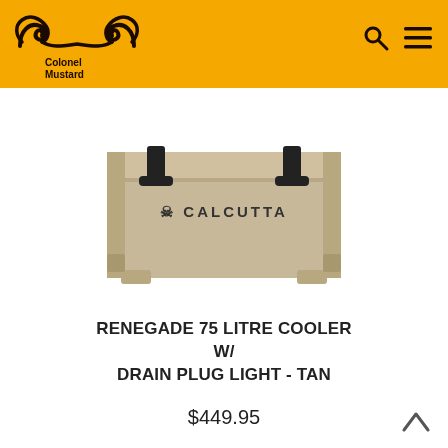Colonel Mustard
[Figure (photo): Tan Calcutta Renegade 75 Litre cooler box with black latches on a white background]
RENEGADE 75 LITRE COOLER W/ DRAIN PLUG LIGHT - TAN
$449.95